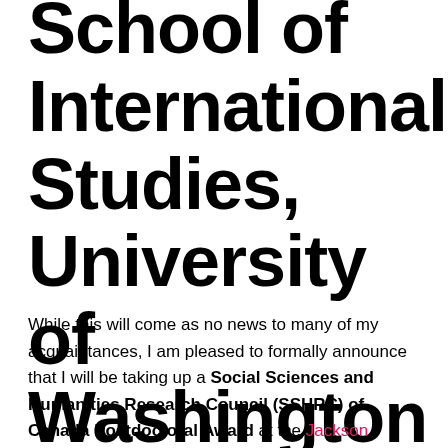School of International Studies, University of Washington
While this will come as no news to many of my acquaintances, I am pleased to formally announce that I will be taking up a Social Sciences and Humanities Research Council (SSHRC) of Canada Postdoctoral Award at the Jackson School of International Studies at the University of Washington in Seattle, beginning on 1 January 2014. This is an externally funded